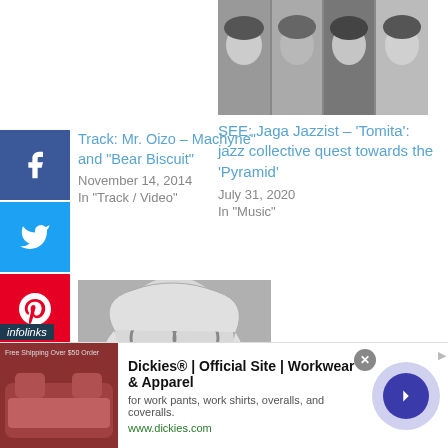[Figure (photo): Black and white group photo of band members (Jaga Jazzist), top right]
SEE: Jaga Jazzist – 'Tomita': jazz collective quest towards the 'Pyramid'
July 31, 2020
In "Music"
Track: Mr. Oizo – Machyne" and "Bear Biscuit"
November 14, 2014
In "Track / Video"
[Figure (illustration): Illustrated face with flowing hair and round glasses, black and white drawing]
Track: Kneebody & Daedelus – 'Drum Battle'
Apr 27, 2015
[Figure (screenshot): Advertisement: Dickies Official Site – Workwear & Apparel. Image of red/brown leather goods on left. Text: for work pants, work shirts, overalls, and coveralls. www.dickies.com]